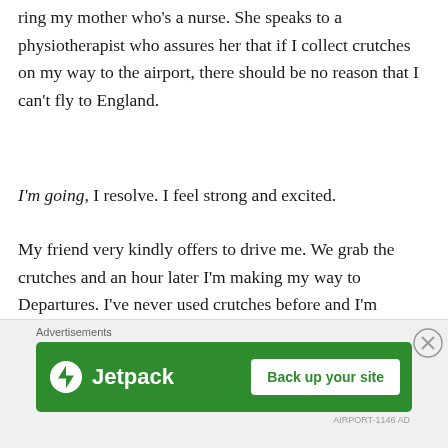ring my mother who's a nurse. She speaks to a physiotherapist who assures her that if I collect crutches on my way to the airport, there should be no reason that I can't fly to England.
I'm going, I resolve. I feel strong and excited.
My friend very kindly offers to drive me. We grab the crutches and an hour later I'm making my way to Departures. I've never used crutches before and I'm surprised to learn how energy-consuming they are.
A member of staff approaches me to offer me a wheelchair. I say yes. What a weird experience!
Suddenly, it's a different level to someone else. Most
Advertisements
[Figure (other): Jetpack advertisement banner with green background showing Jetpack logo and 'Back up your site' button]